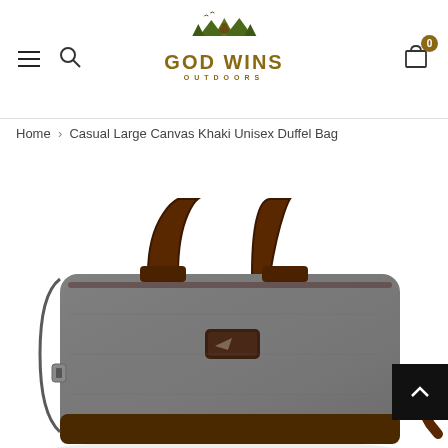GOD WINS OUTDOORS - navigation header with menu, search, and cart (0 items)
Home > Casual Large Canvas Khaki Unisex Duffel Bag
[Figure (photo): A gray canvas unisex duffel bag with dark brown leather handles and shoulder strap, featuring a small logo patch, photographed on white background.]